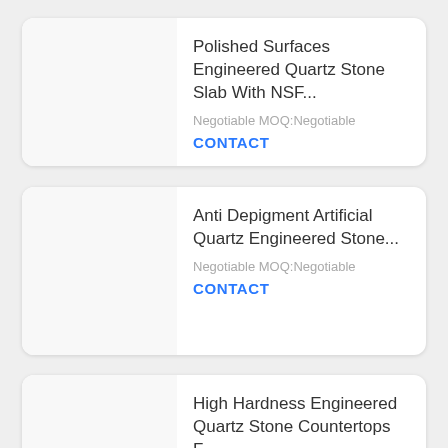Polished Surfaces Engineered Quartz Stone Slab With NSF...
Negotiable MOQ:Negotiable
CONTACT
Anti Depigment Artificial Quartz Engineered Stone...
Negotiable MOQ:Negotiable
CONTACT
High Hardness Engineered Quartz Stone Countertops F...
Negotiable MOQ:Negotiable